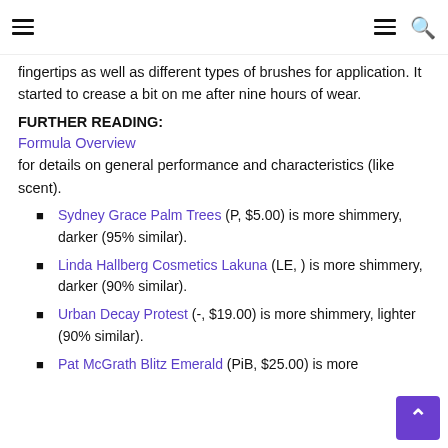[hamburger menu] [hamburger menu] [search icon]
fingertips as well as different types of brushes for application. It started to crease a bit on me after nine hours of wear.
FURTHER READING:
Formula Overview for details on general performance and characteristics (like scent).
Sydney Grace Palm Trees (P, $5.00) is more shimmery, darker (95% similar).
Linda Hallberg Cosmetics Lakuna (LE, ) is more shimmery, darker (90% similar).
Urban Decay Protest (-, $19.00) is more shimmery, lighter (90% similar).
Pat McGrath Blitz Emerald (PiB, $25.00) is more...